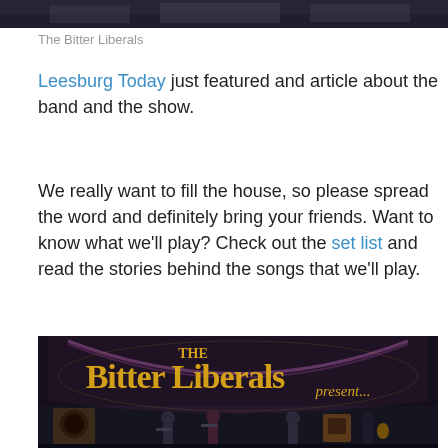[Figure (photo): Top portion of a band photo showing The Bitter Liberals performing on stage, partially cropped]
The Bitter Liberals
Leesburg Today just featured and article about the band and the show.
We really want to fill the house, so please spread the word and definitely bring your friends. Want to know what we'll play? Check out the set list and read the stories behind the songs that we'll play.
[Figure (photo): Photo of The Bitter Liberals band performing on stage under a banner reading 'The Bitter Liberals present...' with musicians playing guitars and other instruments]